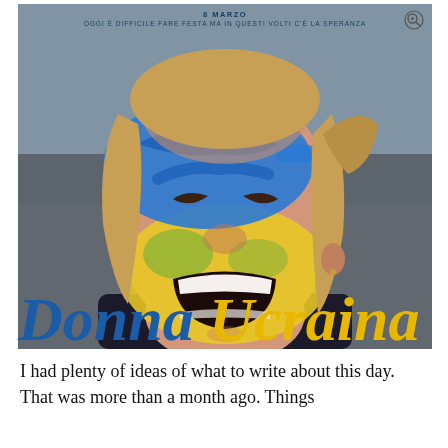8 MARZO
OGGI È DIFFICILE FARE FESTA MA IN QUESTI VOLTI C'È LA SPERANZA
[Figure (photo): A young woman with blue and yellow face paint (Ukrainian flag colors) laughing/cheering with her mouth wide open. She has blonde hair pulled back. The image is a close-up portrait against a blurred background.]
Donna Ucraina
I had plenty of ideas of what to write about this day. That was more than a month ago. Things